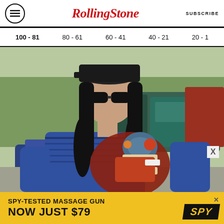Rolling Stone  SUBSCRIBE
100 - 81  80 - 61  60 - 41  40 - 21  20 - 1
[Figure (photo): A musician with long black hair, sunglasses, and a dark cap holds a heavily decorated electric guitar covered in stickers and artwork, standing in a parking lot with buses and cars in the background. He wears a blue striped shirt.]
[Figure (infographic): Advertisement banner for SPY-TESTED MASSAGE GUN NOW JUST $79 with SPY brand logo on yellow background]